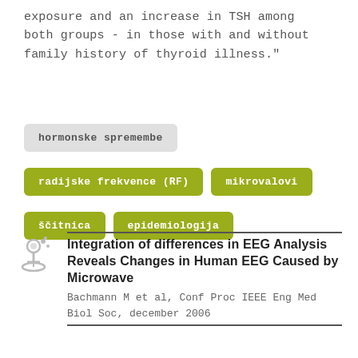exposure and an increase in TSH among both groups - in those with and without family history of thyroid illness."
hormonske spremembe
radijske frekvence (RF)
mikrovalovi
ščitnica
epidemiologija
Integration of differences in EEG Analysis Reveals Changes in Human EEG Caused by Microwave
Bachmann M et al, Conf Proc IEEE Eng Med Biol Soc, december 2006